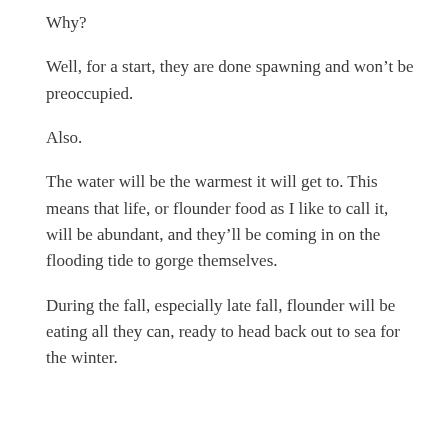Why?
Well, for a start, they are done spawning and won't be preoccupied.
Also.
The water will be the warmest it will get to. This means that life, or flounder food as I like to call it, will be abundant, and they'll be coming in on the flooding tide to gorge themselves.
During the fall, especially late fall, flounder will be eating all they can, ready to head back out to sea for the winter.